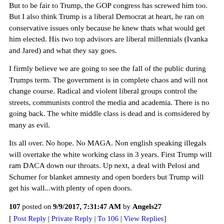But to be fair to Trump, the GOP congress has screwed him too. But I also think Trump is a liberal Democrat at heart, he ran on conservative issues only because he knew thats what would get him elected. His two top advisors are liberal millennials (Ivanka and Jared) and what they say goes.
I firmly believe we are going to see the fall of the public during Trumps term. The government is in complete chaos and will not change course. Radical and violent liberal groups control the streets, communists control the media and academia. There is no going back. The white middle class is dead and is comsidered by many as evil.
Its all over. No hope. No MAGA. Non english speaking illegals will overtake the white working class in 3 years. First Trump will ram DACA down our throats. Up next, a deal with Pelosi and Schumer for blanket amnesty and open borders but Trump will get his wall...with plenty of open doors.
107 posted on 9/9/2017, 7:31:47 AM by Angels27
[ Post Reply | Private Reply | To 106 | View Replies ]
To: DestroyLiberalism
Trump is conservative when he can be. Our enemies are not the